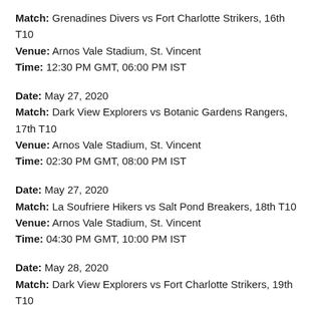Match: Grenadines Divers vs Fort Charlotte Strikers, 16th T10
Venue: Arnos Vale Stadium, St. Vincent
Time: 12:30 PM GMT, 06:00 PM IST
Date: May 27, 2020
Match: Dark View Explorers vs Botanic Gardens Rangers, 17th T10
Venue: Arnos Vale Stadium, St. Vincent
Time: 02:30 PM GMT, 08:00 PM IST
Date: May 27, 2020
Match: La Soufriere Hikers vs Salt Pond Breakers, 18th T10
Venue: Arnos Vale Stadium, St. Vincent
Time: 04:30 PM GMT, 10:00 PM IST
Date: May 28, 2020
Match: Dark View Explorers vs Fort Charlotte Strikers, 19th T10